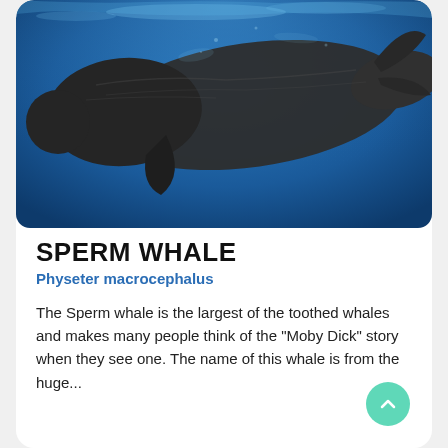[Figure (photo): Underwater photograph of a sperm whale swimming in deep blue ocean water, viewed from slightly below and to the side, showing its large dark body and distinctive head shape.]
SPERM WHALE
Physeter macrocephalus
The Sperm whale is the largest of the toothed whales and makes many people think of the "Moby Dick" story when they see one. The name of this whale is from the huge...